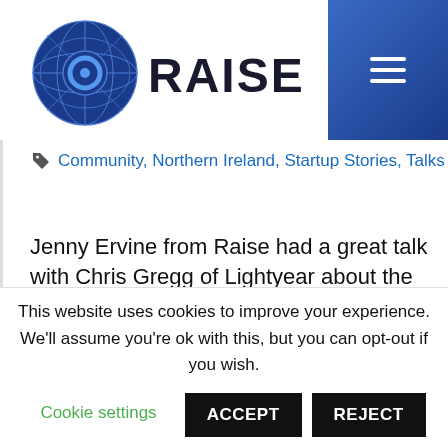[Figure (logo): RAISE logo with circular globe icon and bold RAISE text]
Community, Northern Ireland, Startup Stories, Talks
Jenny Ervine from Raise had a great talk with Chris Gregg of Lightyear about the company's journey so far and plans for the future. Learn more about Lightyear | https://www.lightyear.cloud/ What is Lightyear? A B2B procurement and accounts payable
This website uses cookies to improve your experience. We'll assume you're ok with this, but you can opt-out if you wish.
Cookie settings   ACCEPT   REJECT